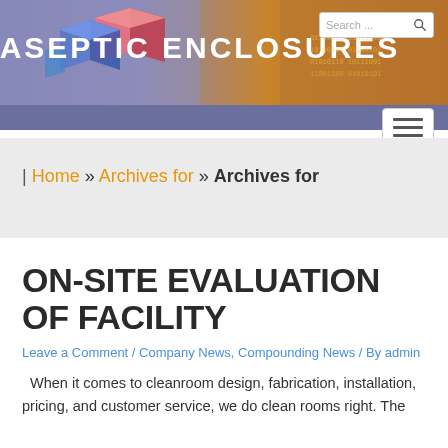[Figure (screenshot): Aseptic Enclosures website header banner with logo and colorful background]
Search ...
| Home » Archives for » Archives for
ON-SITE EVALUATION OF FACILITY
Leave a Comment / Company News, Compounding News / By admin
When it comes to cleanroom design, fabrication, installation, pricing, and customer service, we do clean rooms right. The